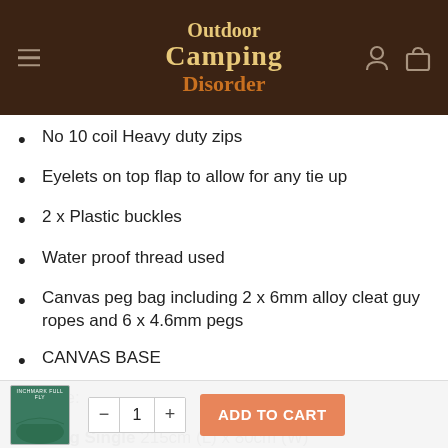Outdoor Camping Disorder — navigation header
No 10 coil Heavy duty zips
Eyelets on top flap to allow for any tie up
2 x Plastic buckles
Water proof thread used
Canvas peg bag including 2 x 6mm alloy cleat guy ropes and 6 x 4.6mm pegs
CANVAS BASE
Size:
King Single  215cm (L) x 80cm (W)
Double, [partially visible]